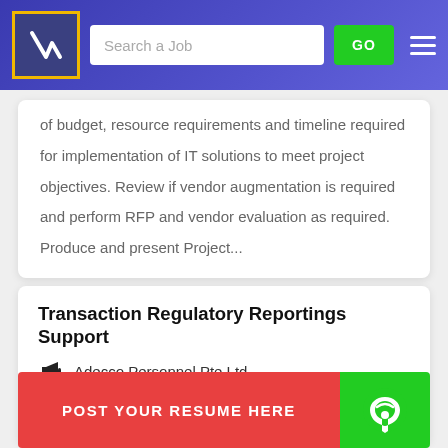Search a Job | GO
of budget, resource requirements and timeline required for implementation of IT solutions to meet project objectives. Review if vendor augmentation is required and perform RFP and vendor evaluation as required. Produce and present Project...
Transaction Regulatory Reportings Support
Adecco Personnel Pte Ltd
Location : Singapore
POST YOUR RESUME HERE